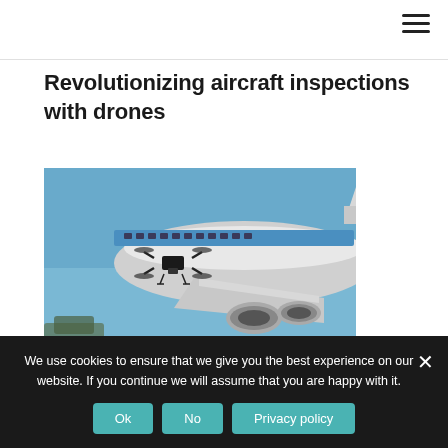Revolutionizing aircraft inspections with drones
[Figure (photo): A drone hovering beside a large blue and white commercial aircraft, performing an inspection. Blue sky in background, aircraft engines and fuselage visible.]
We use cookies to ensure that we give you the best experience on our website. If you continue we will assume that you are happy with it.